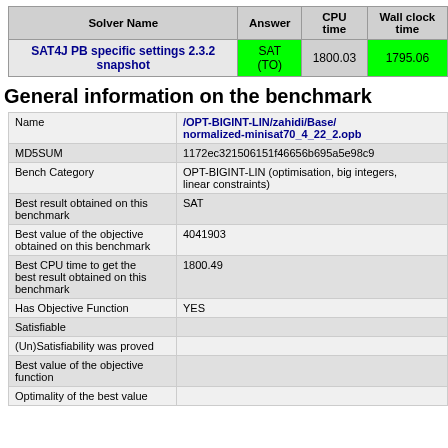| Solver Name | Answer | CPU time | Wall clock time |
| --- | --- | --- | --- |
| SAT4J PB specific settings 2.3.2 snapshot | SAT (TO) | 1800.03 | 1795.06 |
General information on the benchmark
|  |  |
| --- | --- |
| Name | /OPT-BIGINT-LIN/zahidi/Base/normalized-minisat70_4_22_2.opb |
| MD5SUM | 1172ec321506151f46656b695a5e98c9 |
| Bench Category | OPT-BIGINT-LIN (optimisation, big integers, linear constraints) |
| Best result obtained on this benchmark | SAT |
| Best value of the objective obtained on this benchmark | 4041903 |
| Best CPU time to get the best result obtained on this benchmark | 1800.49 |
| Has Objective Function | YES |
| Satisfiable |  |
| (Un)Satisfiability was proved |  |
| Best value of the objective function |  |
| Optimality of the best value |  |